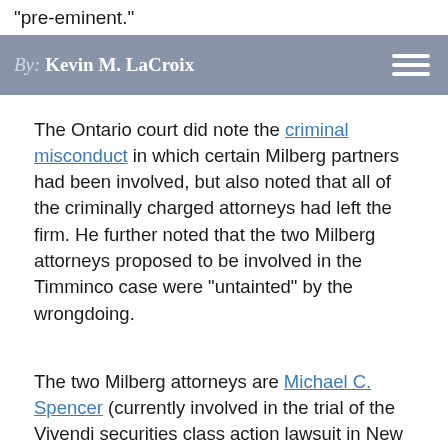"pre-eminent."
By: Kevin M. LaCroix
The Ontario court did note the criminal misconduct in which certain Milberg partners had been involved, but also noted that all of the criminally charged attorneys had left the firm. He further noted that the two Milberg attorneys proposed to be involved in the Timminco case were "untainted" by the wrongdoing.
The two Milberg attorneys are Michael C. Spencer (currently involved in the trial of the Vivendi securities class action lawsuit in New York) and Arthur Miller (who among other things is an NYU law professor and previously a law professor at Harvard Law School). In